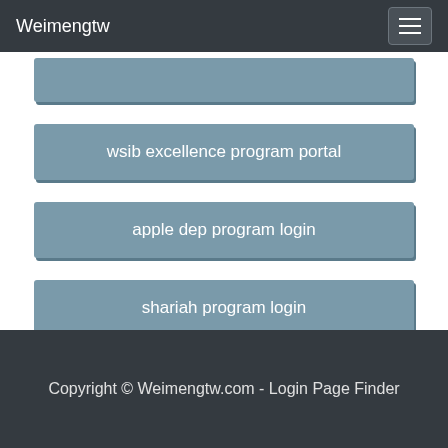Weimengtw
wsib excellence program portal
apple dep program login
shariah program login
Copyright © Weimengtw.com - Login Page Finder